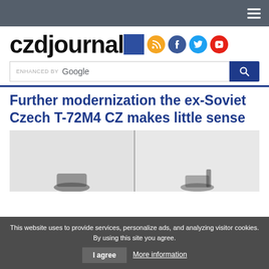czdjournal
[Figure (logo): czdjournal website logo with RSS, Facebook, Twitter and YouTube social media icons]
[Figure (screenshot): Enhanced by Google search bar with dark blue search button]
Further modernization the ex-Soviet Czech T-72M4 CZ makes little sense
[Figure (photo): Partial photo of a T-72M4 CZ tank, split into two panels]
This website uses to provide services, personalize ads, and analyzing visitor cookies. By using this site you agree. I agree  More information